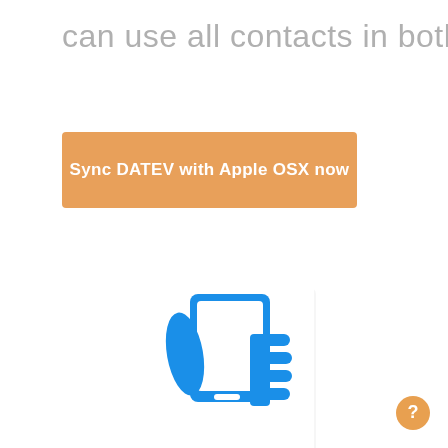can use all contacts in both apps.
Sync DATEV with Apple OSX now
[Figure (illustration): Blue icon of a hand holding a tablet/smartphone device, shown on a white background with slight shadow]
[Figure (other): Orange circular help/info button with question mark icon, bottom right corner]